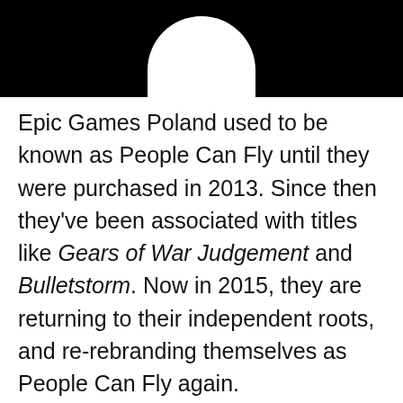[Figure (logo): Black banner at top with partial white circular logo (People Can Fly / Epic Games Poland logo) visible at bottom center]
Epic Games Poland used to be known as People Can Fly until they were purchased in 2013. Since then they've been associated with titles like Gears of War Judgement and Bulletstorm. Now in 2015, they are returning to their independent roots, and re-rebranding themselves as People Can Fly again.
[quote_box_center]
Studio formerly known as Epic G...